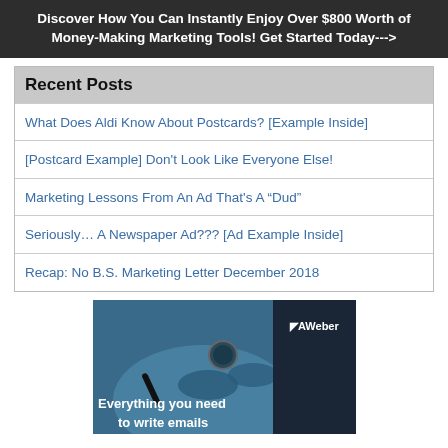Discover How You Can Instantly Enjoy Over $800 Worth of Money-Making Marketing Tools! Get Started Today--->
Recent Posts
What Does Aldi Know About Postcards? [Example Inside]
[Postcard Example] Don't Look Like Everyone Else!
Marketing Lessons From An Ad That's A “Dud”
Seriously… A Newspaper Ad??? [Ad Example Inside]
Recap: No B.S. Marketing Letter December 2018
[Figure (photo): AWeber advertisement showing hands writing with a pen and the text 'Everything you need to write emails' with AWeber logo in upper right corner]